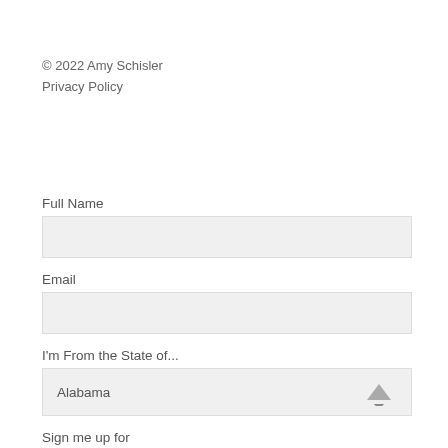© 2022 Amy Schisler
Privacy Policy
Full Name
Email
I'm From the State of...
Alabama
Sign me up for
Quarterly Newsletter